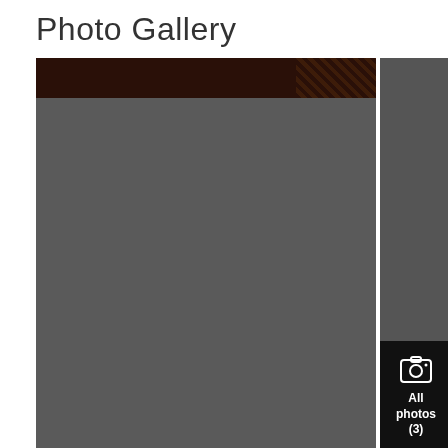Photo Gallery
[Figure (photo): Photo gallery layout with a large main photo placeholder (dark grey) with a dark brown header bar, and a sidebar panel with an 'All photos (3)' button showing a camera icon]